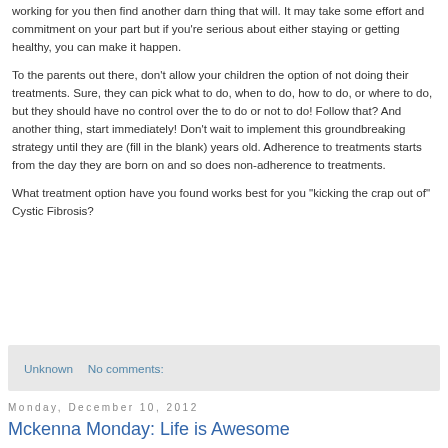working for you then find another darn thing that will. It may take some effort and commitment on your part but if you're serious about either staying or getting healthy, you can make it happen.
To the parents out there, don't allow your children the option of not doing their treatments. Sure, they can pick what to do, when to do, how to do, or where to do, but they should have no control over the to do or not to do! Follow that? And another thing, start immediately! Don't wait to implement this groundbreaking strategy until they are (fill in the blank) years old. Adherence to treatments starts from the day they are born on and so does non-adherence to treatments.
What treatment option have you found works best for you "kicking the crap out of" Cystic Fibrosis?
Unknown   No comments:
Monday, December 10, 2012
Mckenna Monday: Life is Awesome